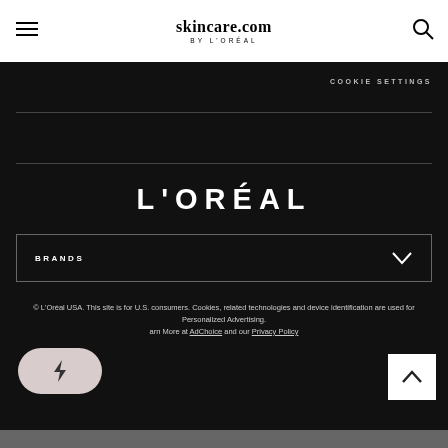[Figure (logo): skincare.com BY L'ORÉAL website header logo with hamburger menu and search icon]
COOKIE SETTINGS
[Figure (logo): L'ORÉAL text logo in white on black background]
BRANDS
© L'Oréal USA. This site is for U.S. consumers. Cookies, related technologies and device identification are used for Personalized Advertising. Learn More at AdChoice and our Privacy Policy